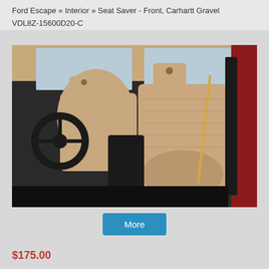More...
Ford Escape » Interior » Seat Saver - Front, Carhartt Gravel
VDL8Z-15600D20-C
[Figure (photo): Photo of tan/beige Carhartt Seat Saver seat covers installed on front seats of a Ford vehicle, interior view with steering wheel visible, red exterior door panel on right]
More
$175.00